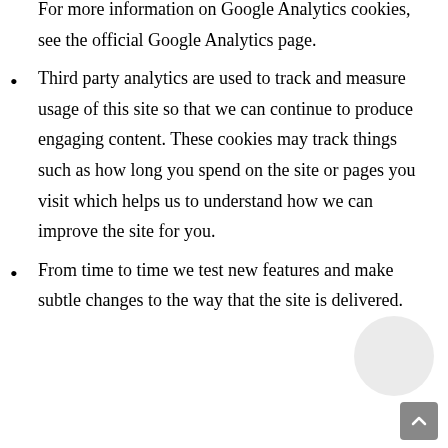For more information on Google Analytics cookies, see the official Google Analytics page.
Third party analytics are used to track and measure usage of this site so that we can continue to produce engaging content. These cookies may track things such as how long you spend on the site or pages you visit which helps us to understand how we can improve the site for you.
From time to time we test new features and make subtle changes to the way that the site is delivered.